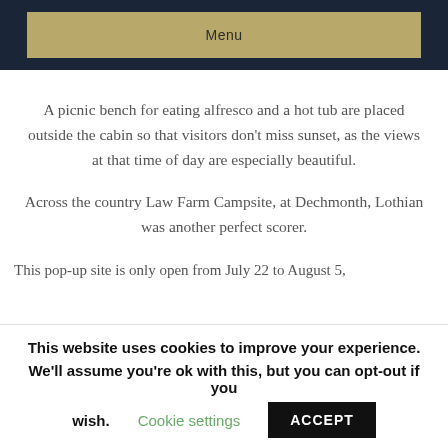Menu
A picnic bench for eating alfresco and a hot tub are placed outside the cabin so that visitors don't miss sunset, as the views at that time of day are especially beautiful.
Across the country Law Farm Campsite, at Dechmonth, Lothian was another perfect scorer.
This pop-up site is only open from July 22 to August 5,
This website uses cookies to improve your experience. We'll assume you're ok with this, but you can opt-out if you wish. Cookie settings ACCEPT